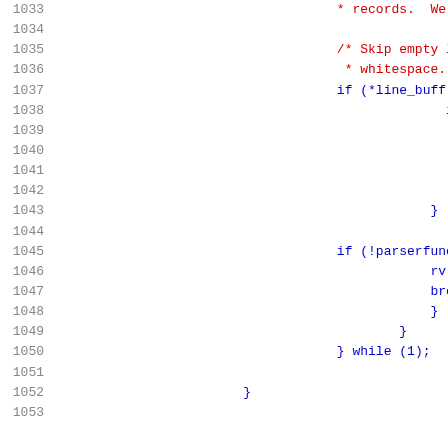[Figure (screenshot): Source code listing with line numbers 1033-1053, showing C code with syntax highlighting. Comments in red, keywords in dark blue, numbers/literals in blue.]